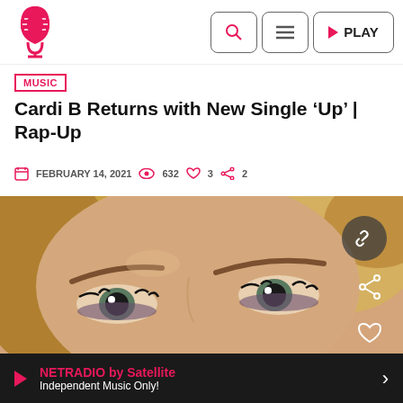NETRADIO logo | Search | Menu | PLAY
MUSIC
Cardi B Returns with New Single ‘Up’ | Rap-Up
FEBRUARY 14, 2021  632  3  2
[Figure (photo): Close-up photo of a woman with dramatic eye makeup, blonde and brown hair]
NETRADIO by Satellite - Independent Music Only!